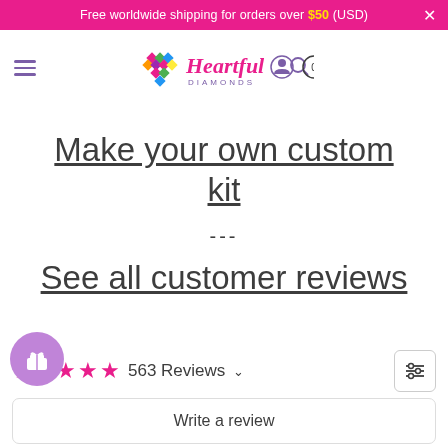Free worldwide shipping for orders over $50 (USD)
[Figure (logo): Heartful Diamonds logo with colorful diamond heart icon and cursive brand name]
Make your own custom kit
---
See all customer reviews
563 Reviews
Write a review